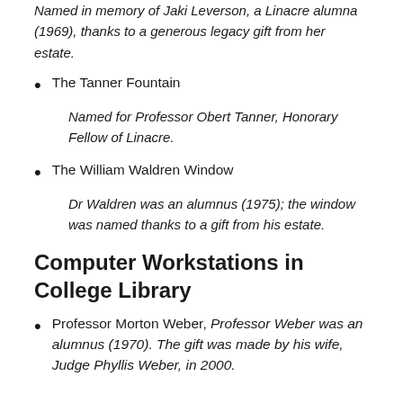Named in memory of Jaki Leverson, a Linacre alumna (1969), thanks to a generous legacy gift from her estate.
The Tanner Fountain
Named for Professor Obert Tanner, Honorary Fellow of Linacre.
The William Waldren Window
Dr Waldren was an alumnus (1975); the window was named thanks to a gift from his estate.
Computer Workstations in College Library
Professor Morton Weber, Professor Weber was an alumnus (1970). The gift was made by his wife, Judge Phyllis Weber, in 2000.